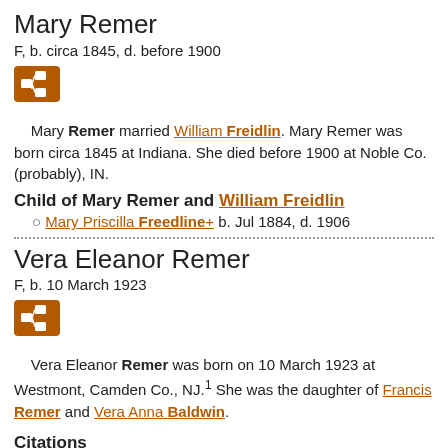Mary Remer
F, b. circa 1845, d. before 1900
[Figure (other): Orange icon button with genealogy/family tree symbol]
Mary Remer married William Freidlin. Mary Remer was born circa 1845 at Indiana. She died before 1900 at Noble Co. (probably), IN.
Child of Mary Remer and William Freidlin
Mary Priscilla Freedline+ b. Jul 1884, d. 1906
Vera Eleanor Remer
F, b. 10 March 1923
[Figure (other): Orange icon button with genealogy/family tree symbol]
Vera Eleanor Remer was born on 10 March 1923 at Westmont, Camden Co., NJ.1 She was the daughter of Francis Remer and Vera Anna Baldwin.
Citations
1. [S82] Price Genealogy, 355.